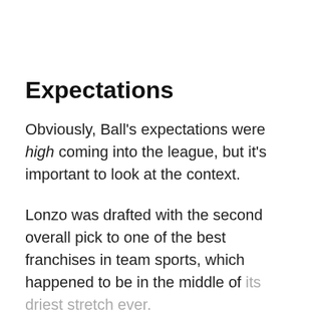Expectations
Obviously, Ball's expectations were high coming into the league, but it's important to look at the context.
Lonzo was drafted with the second overall pick to one of the best franchises in team sports, which happened to be in the middle of its driest stretch ever.